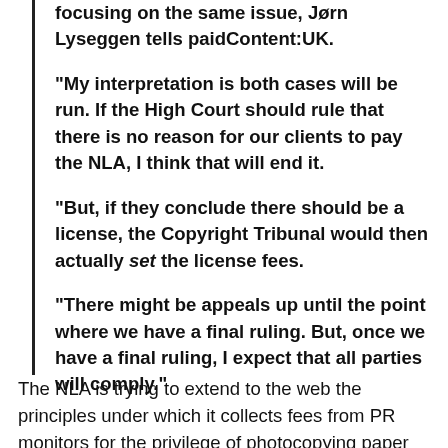focusing on the same issue, Jørn Lyseggen tells paidContent:UK.
“My interpretation is both cases will be run. If the High Court should rule that there is no reason for our clients to pay the NLA, I think that will end it.
“But, if they conclude there should be a license, the Copyright Tribunal would then actually set the license fees.
“There might be appeals up until the point where we have a final ruling. But, once we have a final ruling, I expect that all parties will comply.”
The NLA is trying to extend to the web the principles under which it collects fees from PR monitors for the privilege of photocopying paper news clippings for clients.
Meltwater has already paid agreed to pay the NLA